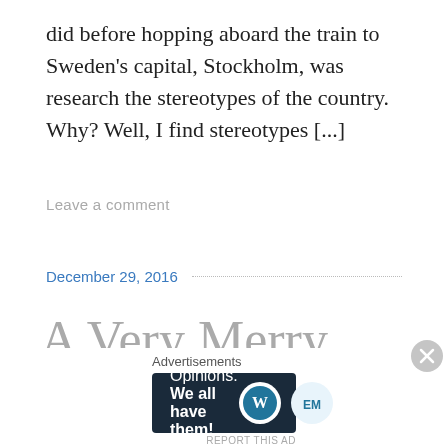did before hopping aboard the train to Sweden's capital, Stockholm, was research the stereotypes of the country. Why? Well, I find stereotypes [...]
Leave a comment
December 29, 2016
A Very Merry Christmas
Advertisements
[Figure (other): Advertisement banner: dark navy background with text 'Opinions. We all have them!' and WordPress and EM logos on the right. Close button (X in circle) on far right.]